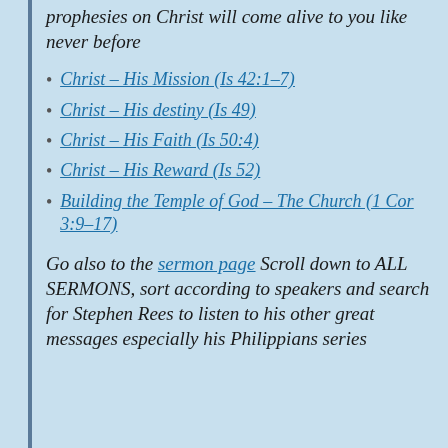prophesies on Christ will come alive to you like never before
Christ – His Mission (Is 42:1–7)
Christ – His destiny (Is 49)
Christ – His Faith (Is 50:4)
Christ – His Reward (Is 52)
Building the Temple of God – The Church (1 Cor 3:9–17)
Go also to the sermon page Scroll down to ALL SERMONS, sort according to speakers and search for Stephen Rees to listen to his other great messages especially his Philippians series